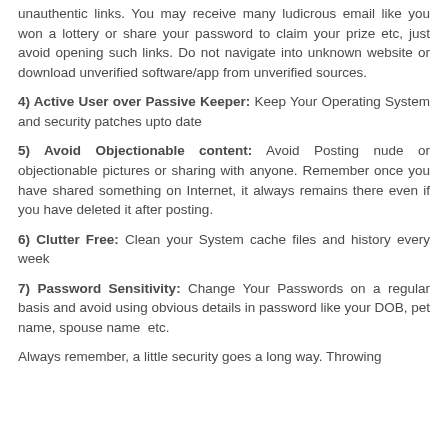unauthentic links. You may receive many ludicrous email like you won a lottery or share your password to claim your prize etc, just avoid opening such links. Do not navigate into unknown website or download unverified software/app from unverified sources.
4) Active User over Passive Keeper: Keep Your Operating System and security patches upto date
5) Avoid Objectionable content: Avoid Posting nude or objectionable pictures or sharing with anyone. Remember once you have shared something on Internet, it always remains there even if you have deleted it after posting.
6) Clutter Free: Clean your System cache files and history every week
7) Password Sensitivity: Change Your Passwords on a regular basis and avoid using obvious details in password like your DOB, pet name, spouse name  etc.
Always remember, a little security goes a long way. Throwing